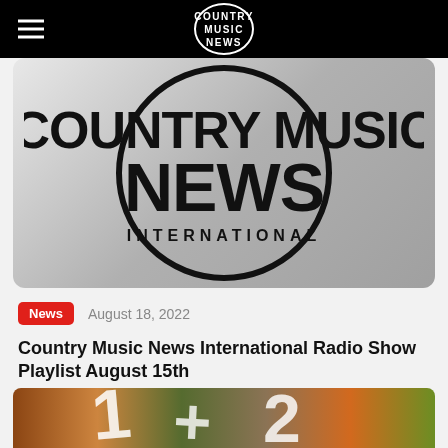COUNTRY MUSIC NEWS
[Figure (logo): Country Music News International circular logo on grey gradient background]
News   August 18, 2022
Country Music News International Radio Show Playlist August 15th
Tune In For Country Music News International Radio Show On Monday, Wednesday, Saturday!
[Figure (photo): Partial colorful autumn photo at bottom of page]